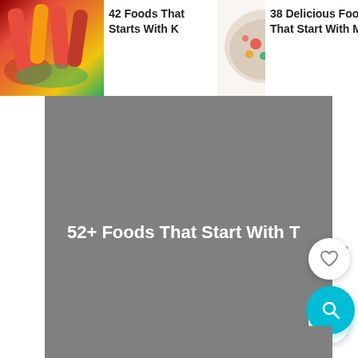[Figure (screenshot): Thumbnail image of colorful foods starting with K - peppers and vegetables]
42 Foods That Starts With K
[Figure (screenshot): Thumbnail image of bowl with colorful foods starting with M]
38 Delicious Food That Start With M
[Figure (screenshot): Thumbnail image of colorful dessert foods]
25 Inspiring Foods That Start With
[Figure (screenshot): Large grey hero image placeholder for article about foods starting with T]
52+ Foods That Start With T
[Figure (screenshot): Bottom grey image placeholder strip]